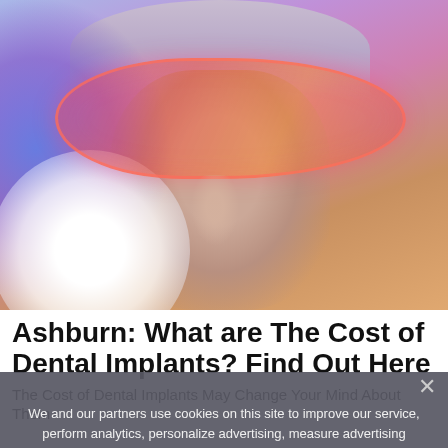[Figure (photo): Close-up photo of a person's face wearing large pink/orange tinted protective glasses or goggles, with a blue-purple light glow on the left side and a bright white circular light orb on the lower left. The image relates to dental or medical light treatment.]
Ashburn: What are The Cost of Dental Implants? Find Out Here
The Cost of Dental Implants May Change Your Mind About Them
We and our partners use cookies on this site to improve our service, perform analytics, personalize advertising, measure advertising performance, and remember website preferences.
Ok